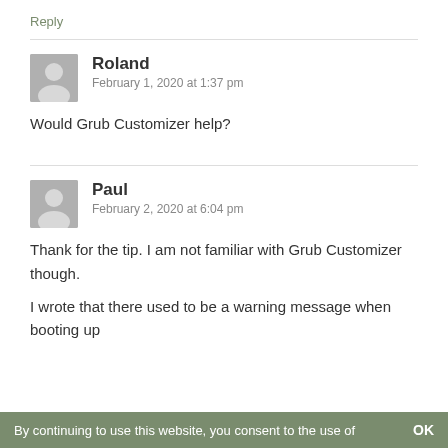Reply
Roland
February 1, 2020 at 1:37 pm
Would Grub Customizer help?
Paul
February 2, 2020 at 6:04 pm
Thank for the tip. I am not familiar with Grub Customizer though.

I wrote that there used to be a warning message when booting up
By continuing to use this website, you consent to the use of    OK